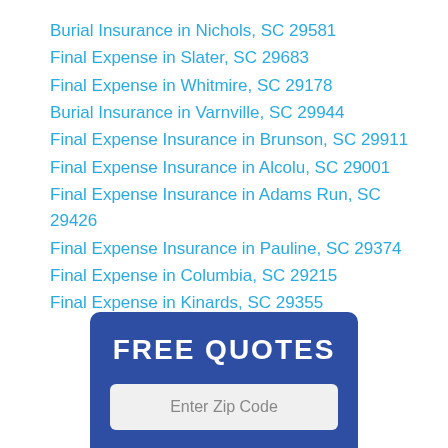Burial Insurance in Nichols, SC 29581
Final Expense in Slater, SC 29683
Final Expense in Whitmire, SC 29178
Burial Insurance in Varnville, SC 29944
Final Expense Insurance in Brunson, SC 29911
Final Expense Insurance in Alcolu, SC 29001
Final Expense Insurance in Adams Run, SC 29426
Final Expense Insurance in Pauline, SC 29374
Final Expense in Columbia, SC 29215
Final Expense in Kinards, SC 29355
FREE QUOTES
Enter Zip Code